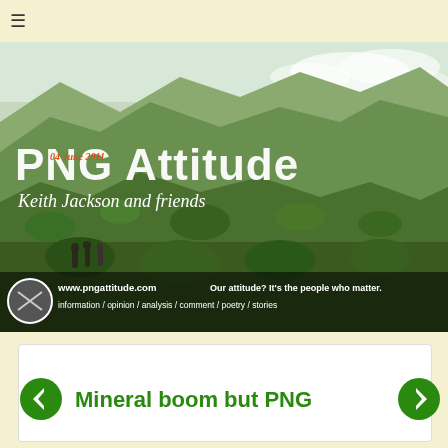≡ (hamburger menu)
[Figure (photo): PNG Attitude website banner showing lush green Papua New Guinea mountain landscape with people in the foreground, overlaid with the site logo 'PNG Attitude', date '04 June 2011', subtitle 'Keith Jackson and friends', and a dark strip at the bottom showing website URL www.pngattitude.com, tagline 'Our attitude? It's the people who matter.' and categories: information / opinion / analysis / comment / poetry / stories]
Mineral boom but PNG